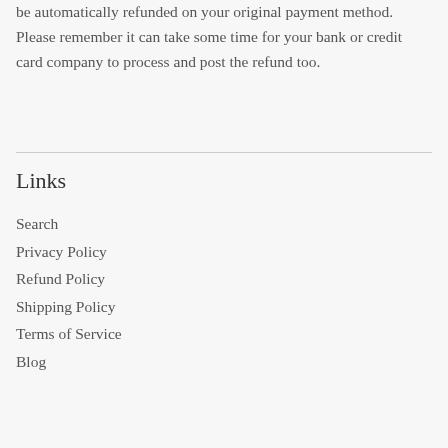be automatically refunded on your original payment method. Please remember it can take some time for your bank or credit card company to process and post the refund too.
Links
Search
Privacy Policy
Refund Policy
Shipping Policy
Terms of Service
Blog